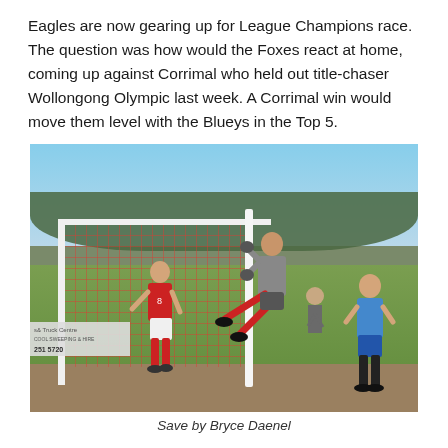Eagles are now gearing up for League Champions race. The question was how would the Foxes react at home, coming up against Corrimal who held out title-chaser Wollongong Olympic last week. A Corrimal win would move them level with the Blueys in the Top 5.
[Figure (photo): A soccer goalkeeper diving to make a save, grabbing the goalpost, with a red-shirted attacker on the left and a blue-shirted defender on the right. Red goal net visible. Grass field with trees and sky in background. An advertisement banner visible at lower left.]
Save by Bryce Daenel